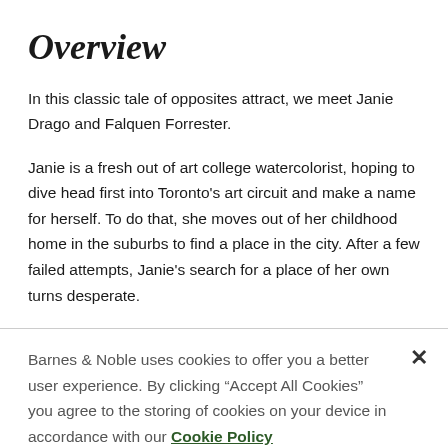Overview
In this classic tale of opposites attract, we meet Janie Drago and Falquen Forrester.
Janie is a fresh out of art college watercolorist, hoping to dive head first into Toronto's art circuit and make a name for herself. To do that, she moves out of her childhood home in the suburbs to find a place in the city. After a few failed attempts, Janie's search for a place of her own turns desperate.
Barnes & Noble uses cookies to offer you a better user experience. By clicking "Accept All Cookies" you agree to the storing of cookies on your device in accordance with our Cookie Policy
Manage Preferences
Accept All Cookies